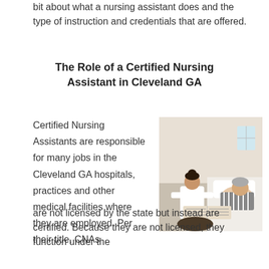bit about what a nursing assistant does and the type of instruction and credentials that are offered.
The Role of a Certified Nursing Assistant in Cleveland GA
Certified Nursing Assistants are responsible for many jobs in the Cleveland GA hospitals, practices and other medical facilities where they are employed. Per their title, CNAs are not licensed by the state but instead are certified. Because they are not licensed, they function under the
[Figure (photo): A female nursing assistant in white uniform sitting beside an elderly male patient on a bed, both looking at an open book together in a medical facility setting.]